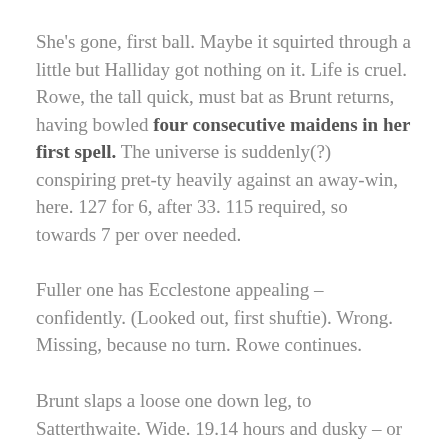She's gone, first ball. Maybe it squirted through a little but Halliday got nothing on it. Life is cruel. Rowe, the tall quick, must bat as Brunt returns, having bowled four consecutive maidens in her first spell. The universe is suddenly(?) conspiring pret-ty heavily against an away-win, here. 127 for 6, after 33. 115 required, so towards 7 per over needed.
Fuller one has Ecclestone appealing – confidently. (Looked out, first shuftie). Wrong. Missing, because no turn. Rowe continues.
Brunt slaps a loose one down leg, to Satterthwaite. Wide. 19.14 hours and dusky – or approaching. Satterthwaite drops and scuttles through, for her fifty: Rowe has to stretch but does get there. But